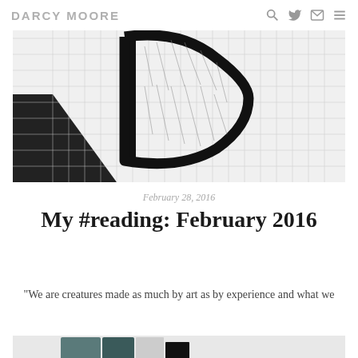DARCY MOORE
[Figure (photo): Black and white photo of an open book on graph paper with a bold letter D drawn in marker on the pages]
February 28, 2016
My #reading: February 2016
“We are creatures made as much by art as by experience and what we
[Figure (photo): Partial bottom image showing books on a light background]